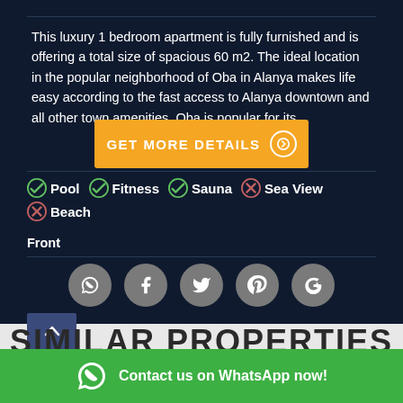This luxury 1 bedroom apartment is fully furnished and is offering a total size of spacious 60 m2. The ideal location in the popular neighborhood of Oba in Alanya makes life easy according to the fast access to Alanya downtown and all other town amenities. Oba is popular for its
[Figure (other): Orange button with text GET MORE DETAILS and a circle arrow icon]
Pool (checked), Fitness (checked), Sauna (checked), Sea View (x), Beach Front (x)
[Figure (other): Social media sharing icons: WhatsApp, Facebook, Twitter, Pinterest, Google+]
[Figure (other): Back to top button with upward arrow]
SIMILAR PROPERTIES IN
Contact us on WhatsApp now!